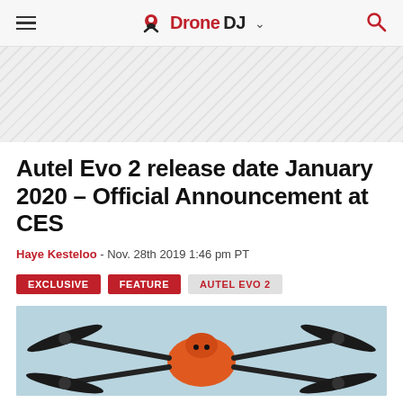DroneDJ
[Figure (other): Advertisement banner area with diagonal stripe pattern]
Autel Evo 2 release date January 2020 – Official Announcement at CES
Haye Kesteloo - Nov. 28th 2019 1:46 pm PT
EXCLUSIVE
FEATURE
AUTEL EVO 2
[Figure (photo): Autel Evo 2 drone close-up photo showing orange body and black propellers on a light blue surface]